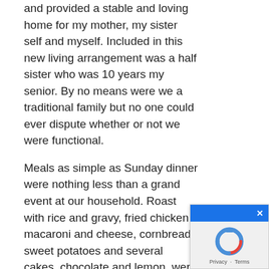and provided a stable and loving home for my mother, my sister self and myself. Included in this new living arrangement was a half sister who was 10 years my senior. By no means were we a traditional family but no one could ever dispute whether or not we were functional.
Meals as simple as Sunday dinner were nothing less than a grand event at our household. Roast with rice and gravy, fried chicken, macaroni and cheese, cornbread, sweet potatoes and several cakes, chocolate and lemon, were the usual offerings. Don't get me wrong, the food was always delicious but those gatherings were so much more than just a time for good food. On any given Sunday, at least four different households, representing four generations would come together under